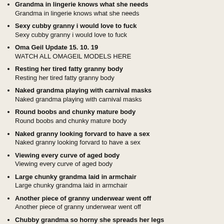Grandma in lingerie knows what she needs
Grandma in lingerie knows what she needs
Sexy cubby granny i would love to fuck
Sexy cubby granny i would love to fuck
Oma Geil Update 15. 10. 19
WATCH ALL OMAGEIL MODELS HERE
Resting her tired fatty granny body
Resting her tired fatty granny body
Naked grandma playing with carnival masks
Naked grandma playing with carnival masks
Round boobs and chunky mature body
Round boobs and chunky mature body
Naked granny looking forvard to have a sex
Naked granny looking forvard to have a sex
Viewing every curve of aged body
Viewing every curve of aged body
Large chunky grandma laid in armchair
Large chunky grandma laid in armchair
Another piece of granny underwear went off
Another piece of granny underwear went off
Chubby grandma so horny she spreads her legs
Chubby grandma so horny she spreads her legs
Granny nearly naked in the shower
Granny nearly naked in the shower
Mirroring all the well aged beauty
Mirroring all the well aged beauty
Oma Geil Update 15. 08. 19